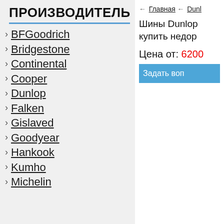ПРОИЗВОДИТЕЛЬ
BFGoodrich
Bridgestone
Continental
Cooper
Dunlop
Falken
Gislaved
Goodyear
Hankook
Kumho
Michelin
← Главная ← Dunl
Шины Dunlop купить недор
Цена от: 6200
Задать воп
[Figure (photo): A Dunlop tire shown from the side/front angle, with watermark text 'moskva-shina.r' visible on the tire image]